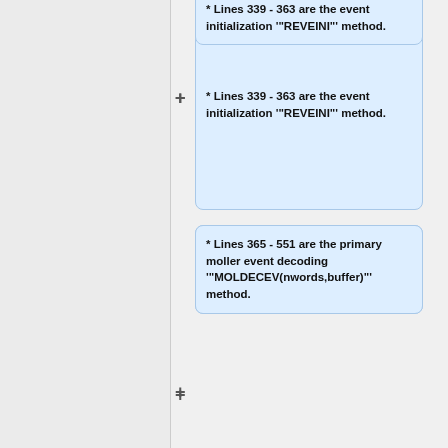* Lines 339 - 363 are the event initialization '"REVEINI"' method.
* Lines 365 - 551 are the primary moller event decoding '"MOLDECEV(nwords,buffer)"' method.
* Lines 553 - 577 are the NTuple filling '"RNTUPEV"' method.
* Lines 579 - 593 are the NTuple closing '"RNTUPCL"' method.